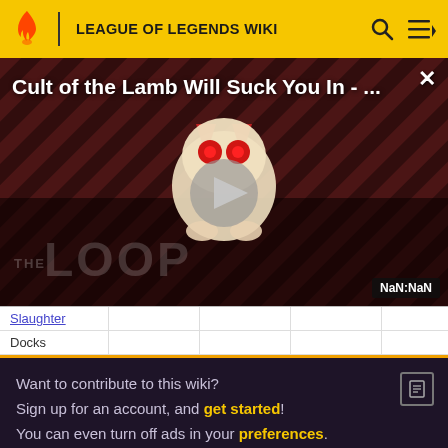LEAGUE OF LEGENDS WIKI
[Figure (screenshot): Video thumbnail overlay for 'Cult of the Lamb Will Suck You In - ...' with a cartoon monster character, play button, diagonal stripe background in dark red, THE LOOP watermark, and NaN:NaN duration badge]
| Slaughter |  |  |  |  |
| Docks |  |  |  |  |
Want to contribute to this wiki? Sign up for an account, and get started! You can even turn off ads in your preferences.